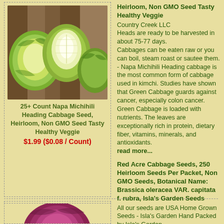[Figure (photo): Photo of Napa Michihili Heading Cabbage heads, green and white, on a wooden surface]
25+ Count Napa Michihili Heading Cabbage Seed, Heirloom, Non GMO Seed Tasty Healthy Veggie
$1.99 ($0.08 / Count)
Heirloom, Non GMO Seed Tasty Healthy Veggie
Country Creek LLC
Heads are ready to be harvested in about 75-77 days. Cabbages can be eaten raw or you can boil, steam roast or sautee them. - Napa Michihili Heading cabbage is the most common form of cabbage used in kimchi. Studies have shown that Green Cabbage guards against cancer, especially colon cancer. Green Cabbage is loaded with nutrients. The leaves are exceptionally rich in protein, dietary fiber, vitamins, minerals, and antioxidants.
read more...
Red Acre Cabbage Seeds, 250 Heirloom Seeds Per Packet, Non GMO Seeds, Botanical Name: Brassica oleracea VAR. capitata f. rubra, Isla's Garden Seeds
All our seeds are USA Home Grown Seeds - Isla's Garden Hand Packed by Isla's Garden
[Figure (photo): Photo of a red/purple cabbage head]